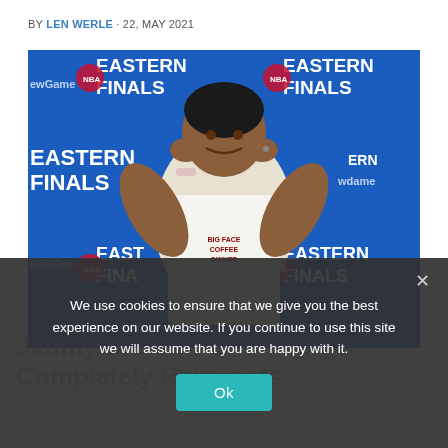BY LEN WERLE · 22, MAY 2021
[Figure (photo): Jimmy Butler posing with hands behind head in front of NBA Eastern Finals step-and-repeat backdrop, wearing a white sleeveless shirt that reads 'Big Face Coffee Owner']
We use cookies to ensure that we give you the best experience on our website. If you continue to use this site we will assume that you are happy with it.
Ok